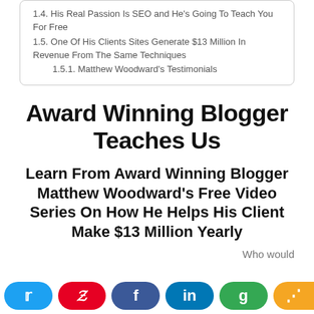1.4. His Real Passion Is SEO and He's Going To Teach You For Free
1.5. One Of His Clients Sites Generate $13 Million In Revenue From The Same Techniques
1.5.1. Matthew Woodward's Testimonials
Award Winning Blogger Teaches Us
Learn From Award Winning Blogger Matthew Woodward's Free Video Series On How He Helps His Client Make $13 Million Yearly
Who would